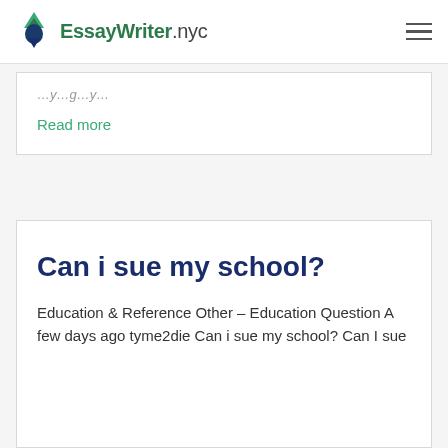EssayWriter.nyc
Read more
Can i sue my school?
Education & Reference Other – Education Question A few days ago tyme2die Can i sue my school? Can I sue